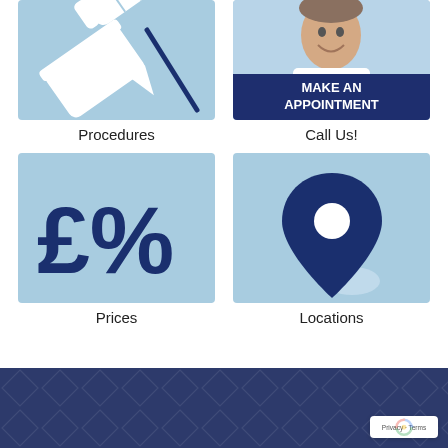[Figure (illustration): Light blue card with white needle/pen illustration for Procedures]
Procedures
[Figure (photo): Light blue card with photo of smiling female doctor and dark blue banner reading MAKE AN APPOINTMENT]
Call Us!
[Figure (illustration): Light blue card with dark navy £% symbol for Prices]
Prices
[Figure (illustration): Light blue card with dark navy map pin / location marker illustration for Locations]
Locations
[Figure (other): Dark navy footer bar with diamond geometric pattern and reCAPTCHA badge in bottom right corner showing Privacy - Terms]